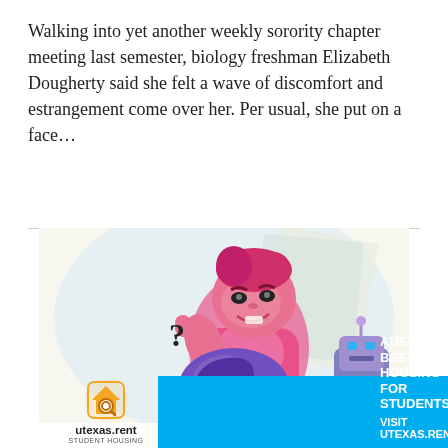Walking into yet another weekly sorority chapter meeting last semester, biology freshman Elizabeth Dougherty said she felt a wave of discomfort and estrangement come over her. Per usual, she put on a face…
[Figure (illustration): Cartoon illustration of animated characters: a smiling pink-skinned male figure with pink hair giving a thumbs-up, a purple-clad figure crouching below, and a robot-like character to the right, set against a light blue and cream abstract background.]
[Figure (other): Advertisement banner for utexas.rent student housing. Shows logo with house/search icon, photo of student on laptop, and text 'AUSTIN'S BEST HOUSING FOR STUDENTS. VISIT UTEXAS.RENT' on cyan background.]